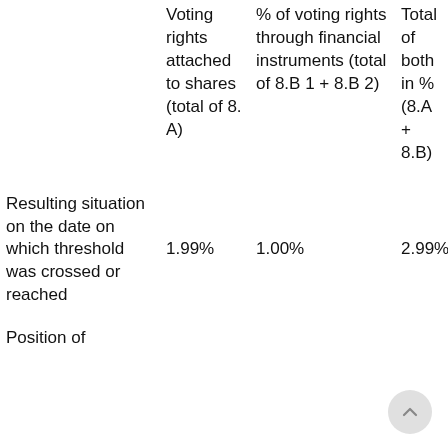|  | Voting rights attached to shares (total of 8. A) | % of voting rights through financial instruments (total of 8.B 1 + 8.B 2) | Total of both in % (8.A + 8.B) |
| --- | --- | --- | --- |
| Resulting situation on the date on which threshold was crossed or reached | 1.99% | 1.00% | 2.99% |
| Position of |  |  |  |